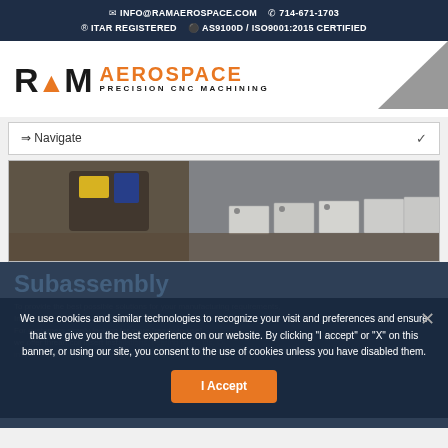INFO@RAMAEROSPACE.COM  714-671-1703  ® ITAR REGISTERED  ● AS9100D / ISO9001:2015 CERTIFIED
[Figure (logo): RAM Aerospace logo with orange triangle arrow accent and text 'PRECISION CNC MACHINING']
⇒ Navigate
[Figure (photo): CNC machined metal parts and workholding fixtures on a machine table]
Subassembly
To provide the best possible solutions for your manufacturing requirements, In-house assembly allows for further value-added opportunities. For customers simply looking for more 'ready-to-use' we offer thread coil insert installations, bearing press fits, O-installation and more, including installations to Mil-standard
We use cookies and similar technologies to recognize your visit and preferences and ensure that we give you the best experience on our website. By clicking "I accept" or "X" on this banner, or using our site, you consent to the use of cookies unless you have disabled them.
I Accept